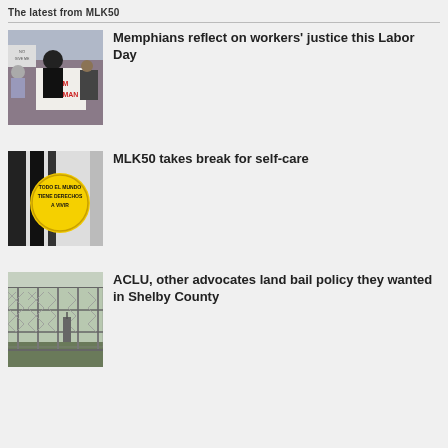The latest from MLK50
[Figure (photo): Protesters holding signs including 'I AM A WOMAN' at a labor rally]
Memphians reflect on workers' justice this Labor Day
[Figure (photo): A yellow circular badge with Spanish text 'TODO EL MUNDO TIENE DERECHOS A VIVIR' on a black and white fabric background]
MLK50 takes break for self-care
[Figure (photo): A chain-link fence with barbed wire, depicting a detention or jail facility]
ACLU, other advocates land bail policy they wanted in Shelby County